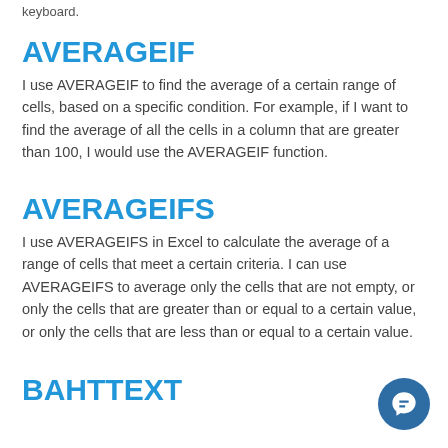keyboard.
AVERAGEIF
I use AVERAGEIF to find the average of a certain range of cells, based on a specific condition. For example, if I want to find the average of all the cells in a column that are greater than 100, I would use the AVERAGEIF function.
AVERAGEIFS
I use AVERAGEIFS in Excel to calculate the average of a range of cells that meet a certain criteria. I can use AVERAGEIFS to average only the cells that are not empty, or only the cells that are greater than or equal to a certain value, or only the cells that are less than or equal to a certain value.
BAHTTEXT